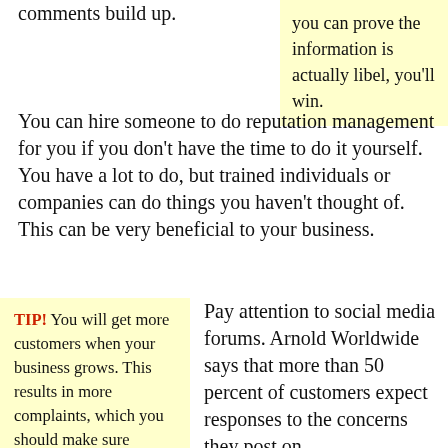comments build up.
you can prove the information is actually libel, you'll win.
You can hire someone to do reputation management for you if you don't have the time to do it yourself. You have a lot to do, but trained individuals or companies can do things you haven't thought of. This can be very beneficial to your business.
TIP! You will get more customers when your business grows. This results in more complaints, which you should make sure
Pay attention to social media forums. Arnold Worldwide says that more than 50 percent of customers expect responses to the concerns they post on